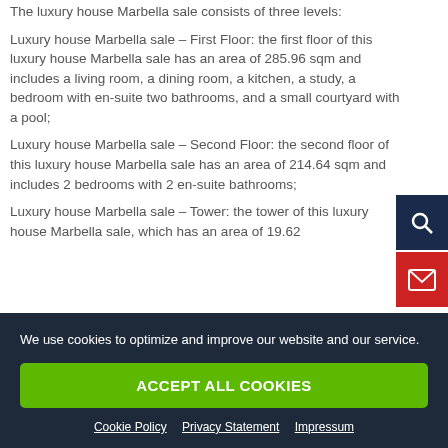The luxury house Marbella sale consists of three levels:
Luxury house Marbella sale – First Floor: the first floor of this luxury house Marbella sale has an area of 285.96 sqm and includes a living room, a dining room, a kitchen, a study, a bedroom with en-suite two bathrooms, and a small courtyard with a pool;
Luxury house Marbella sale – Second Floor: the second floor of this luxury house Marbella sale has an area of 214.64 sqm and includes 2 bedrooms with 2 en-suite bathrooms;
Luxury house Marbella sale – Tower: the tower of this luxury house Marbella sale, which has an area of 19.62…
We use cookies to optimize and improve our website and our service.
ACCEPT ALL COOKIES
Cookie Policy  Privacy Statement  Impressum